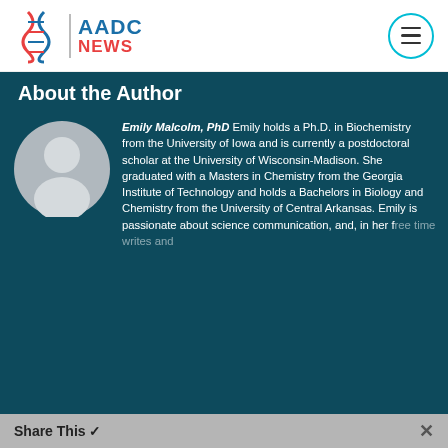[Figure (logo): AADC News logo with DNA double helix icon in red/blue, vertical divider, text AADC in blue and NEWS in red]
[Figure (other): Circular hamburger menu icon with three horizontal lines inside a teal circle outline]
About the Author
[Figure (photo): Default grey avatar silhouette of a person in a circle on dark teal background]
Emily Malcolm, PhD Emily holds a Ph.D. in Biochemistry from the University of Iowa and is currently a postdoctoral scholar at the University of Wisconsin-Madison. She graduated with a Masters in Chemistry from the Georgia Institute of Technology and holds a Bachelors in Biology and Chemistry from the University of Central Arkansas. Emily is passionate about science communication, and, in her free time writes and illustrates children's
Share This ✓  ×